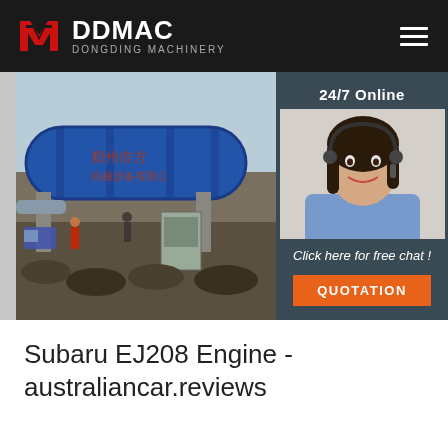[Figure (logo): DDMAC Dongding Machinery logo with red geometric icon and white text on dark header bar]
[Figure (photo): Industrial machinery scene showing a large blue rotary drum/kiln with Chinese characters, construction site with workers, rubble, and equipment in background]
[Figure (photo): Customer service agent sidebar overlay with '24/7 Online' text, woman with headset, 'Click here for free chat!' text, and orange QUOTATION button]
Subaru EJ208 Engine - australiancar.reviews